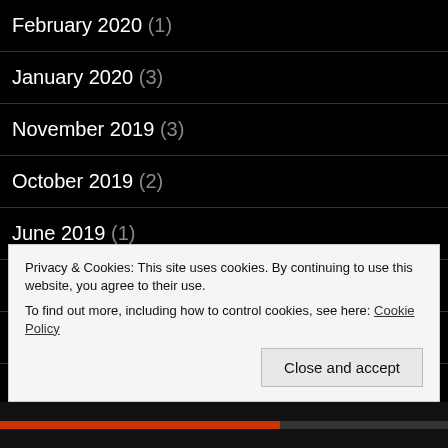February 2020 (1)
January 2020 (3)
November 2019 (3)
October 2019 (2)
June 2019 (1)
September 2018 (1)
April 2018 (1)
February 2018 (2)
December 2017 (1)
Privacy & Cookies: This site uses cookies. By continuing to use this website, you agree to their use.
To find out more, including how to control cookies, see here: Cookie Policy
Close and accept